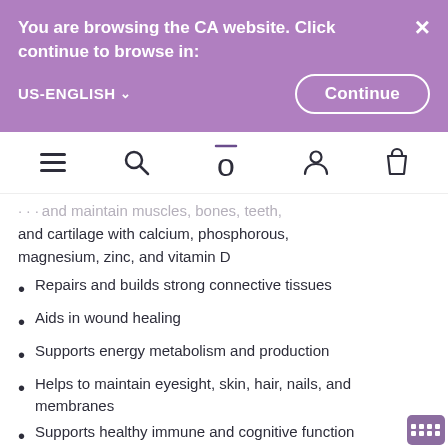You are browsing the CA website. Click continue to browse in:
US-ENGLISH
Continue
[Figure (screenshot): Website navigation bar with hamburger menu, search icon, Ora logo, user account icon, and shopping bag icon]
...and maintain muscles, bones, teeth, and cartilage with calcium, phosphorous, magnesium, zinc, and vitamin D
Repairs and builds strong connective tissues
Aids in wound healing
Supports energy metabolism and production
Helps to maintain eyesight, skin, hair, nails, and membranes
Supports healthy immune and cognitive function
Supports healthy digestion
Intended to aid in normal growth and development